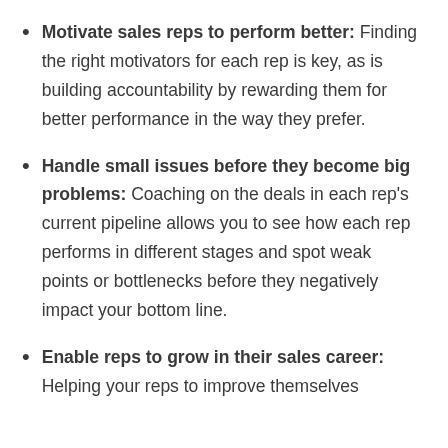Motivate sales reps to perform better: Finding the right motivators for each rep is key, as is building accountability by rewarding them for better performance in the way they prefer.
Handle small issues before they become big problems: Coaching on the deals in each rep's current pipeline allows you to see how each rep performs in different stages and spot weak points or bottlenecks before they negatively impact your bottom line.
Enable reps to grow in their sales career: Helping your reps to improve themselves…